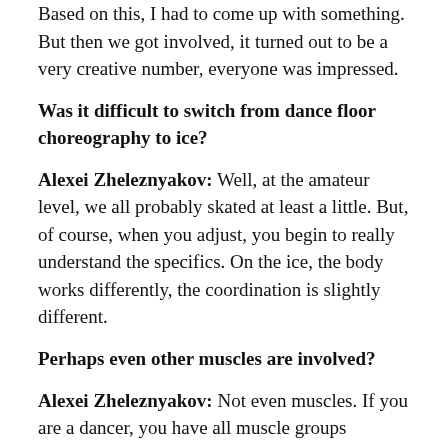Based on this, I had to come up with something. But then we got involved, it turned out to be a very creative number, everyone was impressed.
Was it difficult to switch from dance floor choreography to ice?
Alexei Zheleznyakov: Well, at the amateur level, we all probably skated at least a little. But, of course, when you adjust, you begin to really understand the specifics. On the ice, the body works differently, the coordination is slightly different.
Perhaps even other muscles are involved?
Alexei Zheleznyakov: Not even muscles. If you are a dancer, you have all muscle groups developed. This is the beauty of dance – you physically